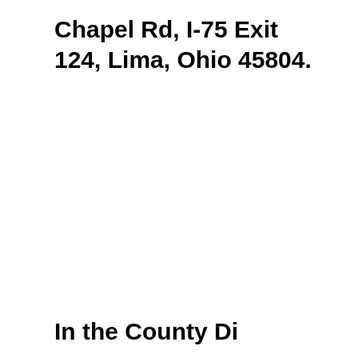Chapel Rd, I-75 Exit 124, Lima, Ohio 45804.
In the County Di...